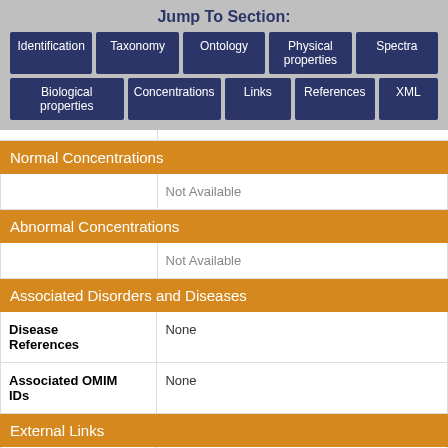Jump To Section:
Identification | Taxonomy | Ontology | Physical properties | Spectra | Biological properties | Concentrations | Links | References | XML
Normal Concentrations
|  | Not Available |
Abnormal Concentrations
|  | Not Available |
Associated Disorders and Diseases
| Disease References | None |
| Associated OMIM IDs | None |
External Links
| DrugBank ID | Not Available |
| Phenol Explorer | Not Available |